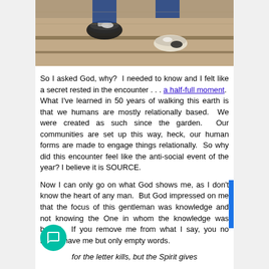[Figure (photo): Overhead view of shoes on concrete steps or railroad tracks, with denim pants visible in the upper portion.]
So I asked God, why?  I needed to know and I felt like a secret rested in the encounter . . . a half-full moment.  What I've learned in 50 years of walking this earth is that we humans are mostly relationally based.  We were created as such since the garden.  Our communities are set up this way, heck, our human forms are made to engage things relationally.  So why did this encounter feel like the anti-social event of the year?  I believe it is SOURCE.
Now I can only go on what God shows me, as I don't know the heart of any man.  But God impressed on me that the focus of this gentleman was knowledge and not knowing the One in whom the knowledge was based.  If you remove me from what I say, you no longer have me but only empty words.
for the letter kills, but the Spirit gives